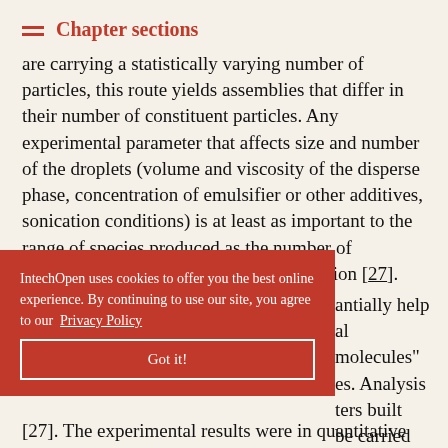Chapter sections
are carrying a statistically varying number of particles, this route yields assemblies that differ in their number of constituent particles. Any experimental parameter that affects size and number of the droplets (volume and viscosity of the disperse phase, concentration of emulsifier or other additives, sonication conditions) is at least as important to the range of species produced as the number of elementary particles present in the emulsion [27]. Hence, optimization of
antially help al molecules" es. Analysis ters built be carried tation (DCS)
IntechOpen uses cookies to offer you the best online experience. By continuing to use our site, you agree to our Privacy Policy
Got it!
[27]. The experimental results were in quantitative